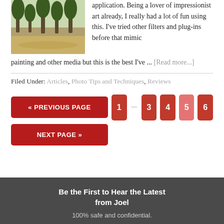[Figure (photo): Outdoor forest scene with pine trees and open ground]
application. Being a lover of impressionist art already, I really had a lot of fun using this. I've tried other filters and plug-ins before that mimic painting and other media but this is the best I've ... [Read more...]
Filed Under: Articles, Photo Tips and Techniques, Reviews
« PREVIOUS PAGE  1  ...  3  4  5  6  NEXT PAGE »
Be the First to Hear the Latest from Joel
100% safe and confidential.